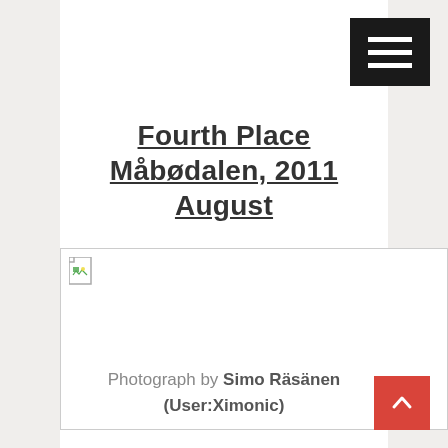[Figure (other): Hamburger menu button (three horizontal white bars on black background) in top right corner]
Fourth Place Måbødalen, 2011 August
[Figure (photo): Broken/unloaded image placeholder with small image icon in top left corner]
Photograph by Simo Räsänen (User:Ximonic)
[Figure (other): Red scroll-to-top button with upward arrow chevron in bottom right corner]